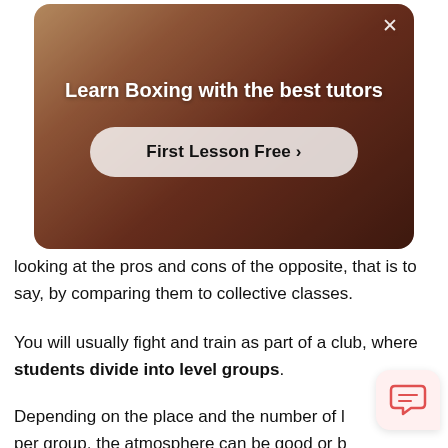[Figure (screenshot): Advertisement banner for boxing tutoring service. Shows a boxer/person in a gym with warm brown tones. Title: 'Learn Boxing with the best tutors'. Button: 'First Lesson Free ›'. Close button (×) in top right corner.]
looking at the pros and cons of the opposite, that is to say, by comparing them to collective classes.
You will usually fight and train as part of a club, where students divide into level groups.
Depending on the place and the number of l per group, the atmosphere can be good or b